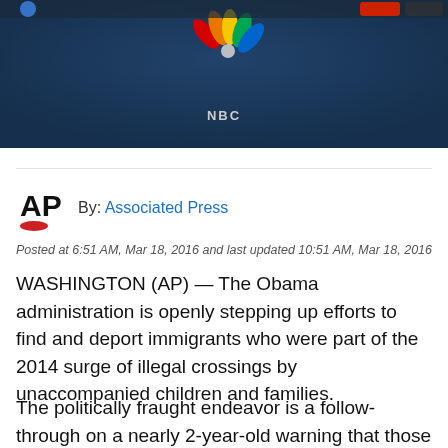[Figure (photo): Hero image showing NBC News logo/interface with dark blue background]
By: Associated Press
Posted at 6:51 AM, Mar 18, 2016 and last updated 10:51 AM, Mar 18, 2016
WASHINGTON (AP) — The Obama administration is openly stepping up efforts to find and deport immigrants who were part of the 2014 surge of illegal crossings by unaccompanied children and families.
The politically fraught endeavor is a follow-through on a nearly 2-year-old warning that those immigrants who didn't immigrate to stay in the United States could...